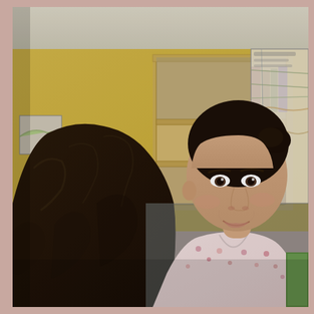[Figure (photo): A classroom scene showing two people facing each other in conversation. One person is seen from behind with long dark wavy hair. The other person, facing the camera, is a young woman with dark hair pulled back, wearing a pink floral patterned top and smiling. In the background there is a wooden bookshelf with books and items including a blue water bottle and orange object, a yellow wall, and posters/maps on the wall.]